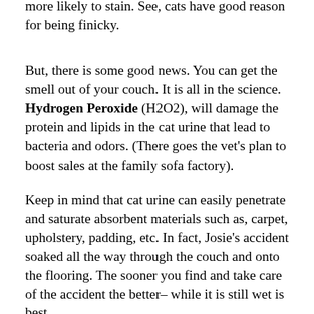more likely to stain. See, cats have good reason for being finicky.
But, there is some good news. You can get the smell out of your couch. It is all in the science. Hydrogen Peroxide (H2O2), will damage the protein and lipids in the cat urine that lead to bacteria and odors. (There goes the vet's plan to boost sales at the family sofa factory).
Keep in mind that cat urine can easily penetrate and saturate absorbent materials such as, carpet, upholstery, padding, etc. In fact, Josie's accident soaked all the way through the couch and onto the flooring. The sooner you find and take care of the accident the better– while it is still wet is best.